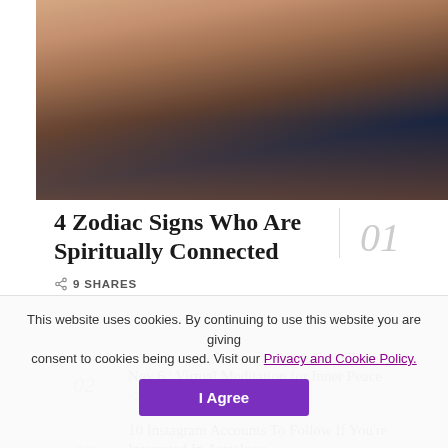[Figure (photo): Photo of people with hands together, dark background, lifestyle/social scene]
4 Zodiac Signs Who Are Spiritually Connected
9 SHARES
02 Nov 6 | Virtual Meditation for Inner Peace 6 SHARES
03 10 Instagram Accounts To Follow If You're Interested In Astrology
This website uses cookies. By continuing to use this website you are giving consent to cookies being used. Visit our Privacy and Cookie Policy.
I Agree